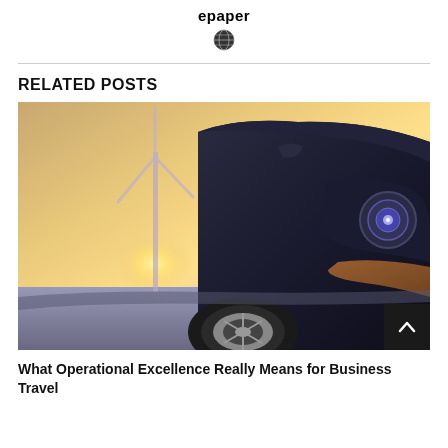epaper
[Figure (other): Globe/world icon]
RELATED POSTS
[Figure (photo): Close-up front view of a dark sports car with a wind turbine in the background at sunset]
What Operational Excellence Really Means for Business Travel